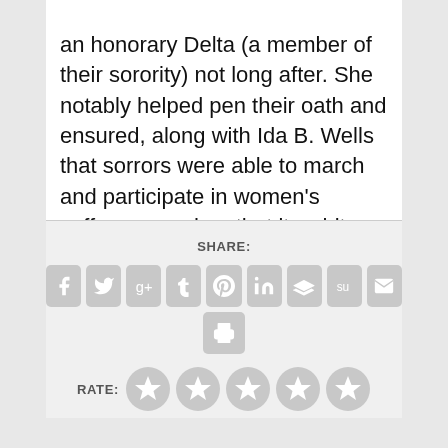an honorary Delta (a member of their sorority) not long after. She notably helped pen their oath and ensured, along with Ida B. Wells that sorrors were able to march and participate in women's suffrage marches that its white leaders intended to segregate for the pleasure of southern white women.
SHARE:
[Figure (infographic): Social sharing icons row: Facebook, Twitter, Google+, Tumblr, Pinterest, LinkedIn, Buffer, StumbleUpon, Email, and a Print icon below]
RATE:
[Figure (infographic): Five gray star rating icons]